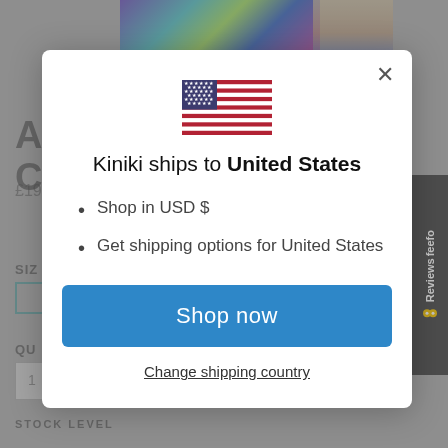[Figure (screenshot): Background e-commerce product page showing partial product images, price in GBP (£19...), size selector, quantity input, and STOCK LEVEL label — partially obscured by modal overlay]
[Figure (other): Feefo Reviews vertical badge on right edge]
[Figure (illustration): United States flag icon centered in modal]
Kiniki ships to United States
Shop in USD $
Get shipping options for United States
Shop now
Change shipping country